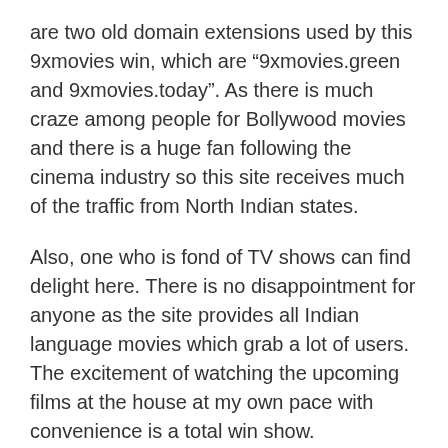are two old domain extensions used by this 9xmovies win, which are “9xmovies.green and 9xmovies.today”. As there is much craze among people for Bollywood movies and there is a huge fan following the cinema industry so this site receives much of the traffic from North Indian states.
Also, one who is fond of TV shows can find delight here. There is no disappointment for anyone as the site provides all Indian language movies which grab a lot of users. The excitement of watching the upcoming films at the house at my own pace with convenience is a total win show.
The special feature of the site is it provides HD movies in just 300MB. This saves and benefits much data on movies. However, there are many sites similar to 9xmovie but you will get all the latest movies and web series both here. 9xmovie gets us with the latest movies, serials, and videos to download with no hassle. One and all can see many